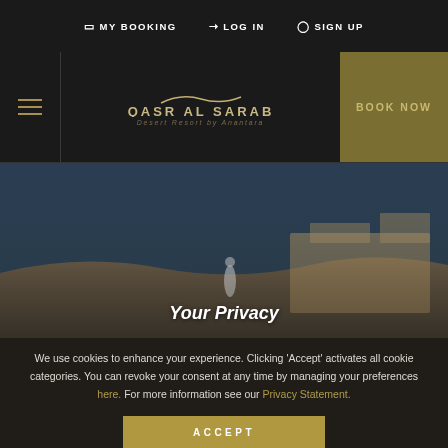MY BOOKING  LOG IN  SIGN UP
[Figure (logo): Qasr Al Sarab Desert Resort by Anantara logo with wave motif and BOOK NOW button]
[Figure (photo): Desert resort scene with sand dunes and traditional Arabic architecture building under blue sky]
Your Privacy
We use cookies to enhance your experience. Clicking 'Accept' activates all cookie categories. You can revoke your consent at any time by managing your preferences here. For more information see our Privacy Statement.
ACCEPT
FROM  CHECK IN  CHECK OUT